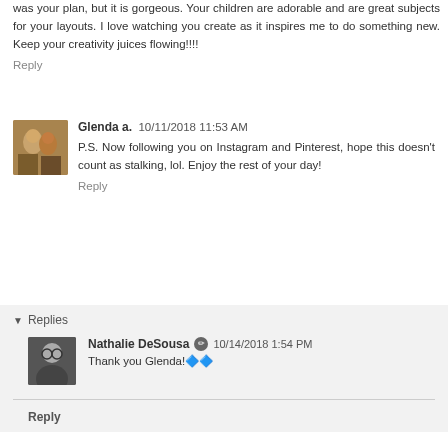was your plan, but it is gorgeous. Your children are adorable and are great subjects for your layouts. I love watching you create as it inspires me to do something new. Keep your creativity juices flowing!!!!
Reply
Glenda a.  10/11/2018 11:53 AM
P.S. Now following you on Instagram and Pinterest, hope this doesn't count as stalking, lol. Enjoy the rest of your day!
Reply
Replies
Nathalie DeSousa  10/14/2018 1:54 PM
Thank you Glenda!🔷🔷
Reply